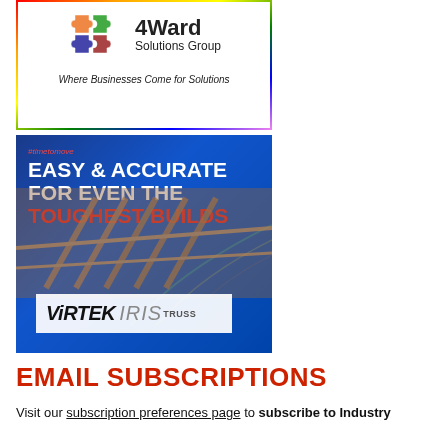[Figure (logo): 4Ward Solutions Group advertisement with colorful puzzle piece logo and tagline 'Where Businesses Come for Solutions']
[Figure (photo): Virtek IRIS Truss advertisement with blue background, construction framing image, headline 'Easy & Accurate for Even the Toughest Builds' with Virtek Iris Truss logo]
EMAIL SUBSCRIPTIONS
Visit our subscription preferences page to subscribe to Industry